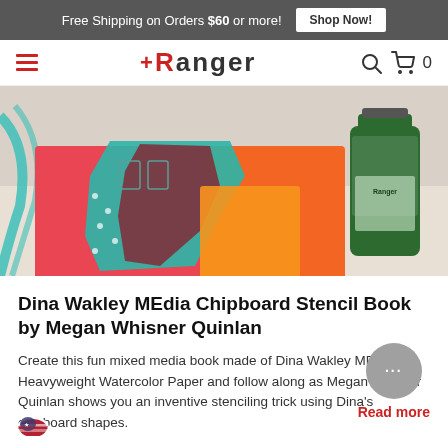Free Shipping on Orders $60 or more! Shop Now!
Ranger
[Figure (photo): Colorful mixed media art book made with Dina Wakley MEdia products, featuring teal, orange, red, and pink layers with stenciled patterns. A green bottle of Ranger product is visible on the right.]
Dina Wakley MEdia Chipboard Stencil Book by Megan Whisner Quinlan
Create this fun mixed media book made of Dina Wakley MEdia Heavyweight Watercolor Paper and follow along as Megan Whisner Quinlan shows you an inventive stenciling trick using Dina's chipboard shapes.
Read more